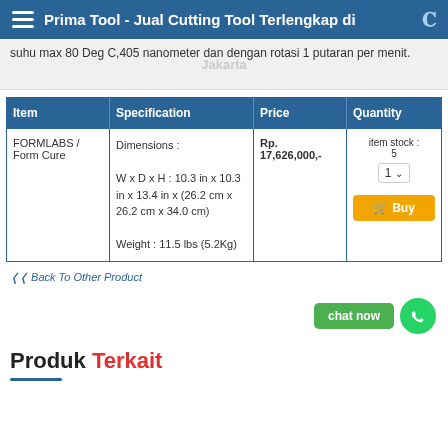Prima Tool - Jual Cutting Tool Terlengkap di
suhu max 80 Deg C,405 nanometer dan dengan rotasi 1 putaran per menit.
| Item | Specification | Price | Quantity |
| --- | --- | --- | --- |
| FORMLABS / Form Cure | Dimensions :
W x D x H : 10.3 in x 10.3 in x 13.4 in x (26.2 cm x 26.2 cm x 34.0 cm)
Weight : 11.5 lbs (5.2Kg) | Rp. 17,626,000,- | item stock : 5
1 ▾
🛒 Buy |
◄◄ Back To Other Product
chat now
Produk Terkait